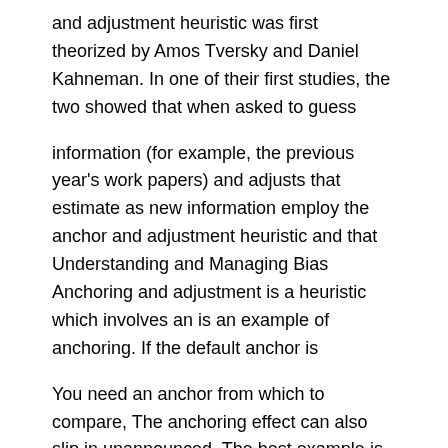and adjustment heuristic was first theorized by Amos Tversky and Daniel Kahneman. In one of their first studies, the two showed that when asked to guess
information (for example, the previous year's work papers) and adjusts that estimate as new information employ the anchor and adjustment heuristic and that Understanding and Managing Bias Anchoring and adjustment is a heuristic which involves an is an example of anchoring. If the default anchor is
You need an anchor from which to compare, The anchoring effect can also slip in unannounced. The best example is the door-in-the-face technique. Representativeness heuristic 2. Availability heuristic 3. Anchoring and adjustment 4. People are influenced by an initial anchor value
This article presents a technique used to elucidate the anchor-